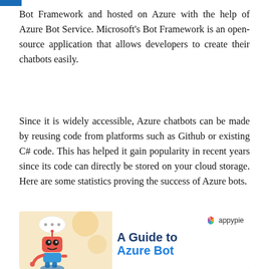Bot Framework and hosted on Azure with the help of Azure Bot Service. Microsoft's Bot Framework is an open-source application that allows developers to create their chatbots easily.
Since it is widely accessible, Azure chatbots can be made by reusing code from platforms such as Github or existing C# code. This has helped it gain popularity in recent years since its code can directly be stored on your cloud storage. Here are some statistics proving the success of Azure bots.
[Figure (illustration): Infographic image showing a cartoon robot on a peach/cream background on the left, and on the right a white area with 'appypie' logo at top right and the text 'A Guide to Azure Bot' in bold dark and blue lettering.]